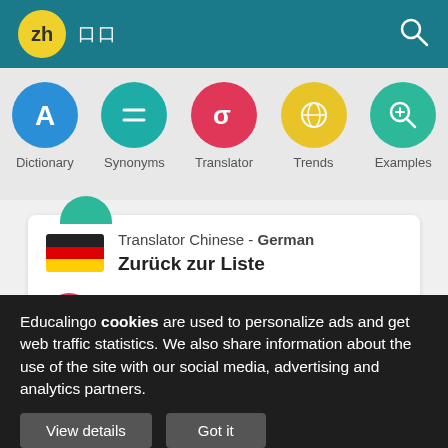[Figure (screenshot): App top navigation bar with teal background, 'zh' yellow logo, Chinese characters, and white search icon]
[Figure (screenshot): Navigation icons row: Dictionary (blue A), Synonyms (teal equals), Translator (red sigma), Trends (yellow globe), Examples (green magnifier)]
Translator Chinese - German
Zurück zur Liste
180 millions of speakers
Educalingo cookies are used to personalize ads and get web traffic statistics. We also share information about the use of the site with our social media, advertising and analytics partners.
View details
Got it